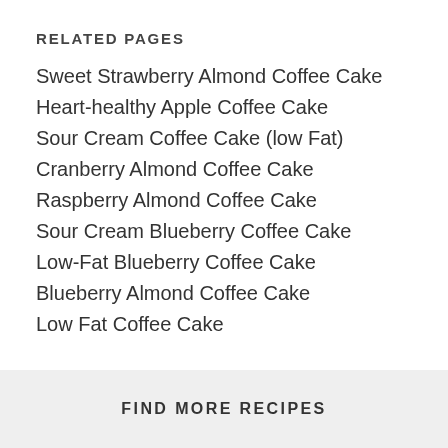RELATED PAGES
Sweet Strawberry Almond Coffee Cake
Heart-healthy Apple Coffee Cake
Sour Cream Coffee Cake (low Fat)
Cranberry Almond Coffee Cake
Raspberry Almond Coffee Cake
Sour Cream Blueberry Coffee Cake
Low-Fat Blueberry Coffee Cake
Blueberry Almond Coffee Cake
Low Fat Coffee Cake
FIND MORE RECIPES